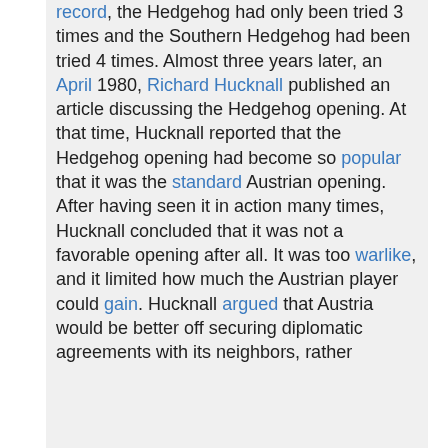record, the Hedgehog had only been tried 3 times and the Southern Hedgehog had been tried 4 times. Almost three years later, an April 1980, Richard Hucknall published an article discussing the Hedgehog opening. At that time, Hucknall reported that the Hedgehog opening had become so popular that it was the standard Austrian opening. After having seen it in action many times, Hucknall concluded that it was not a favorable opening after all. It was too warlike, and it limited how much the Austrian player could gain. Hucknall argued that Austria would be better off securing diplomatic agreements with its neighbors, rather